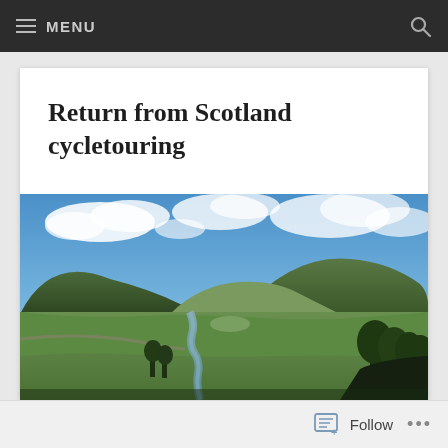MENU
Return from Scotland cycletouring
[Figure (photo): Scenic Scottish Highland landscape with green rolling hills, a winding river through a valley, scattered trees in the foreground, and a blue sky with white clouds overhead.]
Follow ...